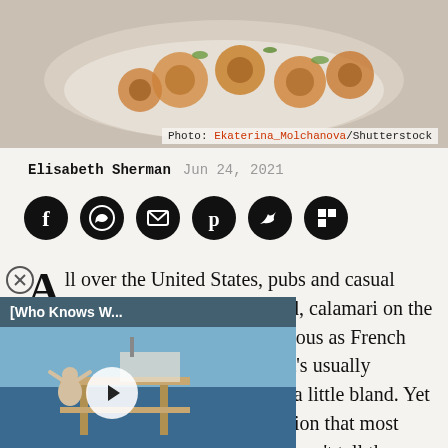[Figure (photo): Food photo showing stuffed calamari on a white plate with garnish]
Photo: Ekaterina_Molchanova/Shutterstock
Elisabeth Sherman   Jun 24, 2021
[Figure (infographic): Social share buttons: Facebook, WhatsApp, Email, Pinterest, Twitter, Flipboard]
[Figure (screenshot): Video overlay: [Who Knows W...] with play button over ocean/dock scene]
All over the United States, pubs and casual restaurants feature deep-fried, calamari on the menu — of marinara sauce. quitous as French fries in many coastal cities, and it's usually reliably satisfying. It's also often a little bland. Yet this somewhat lackluster association that most Americans have with calamari doesn't tell the whole